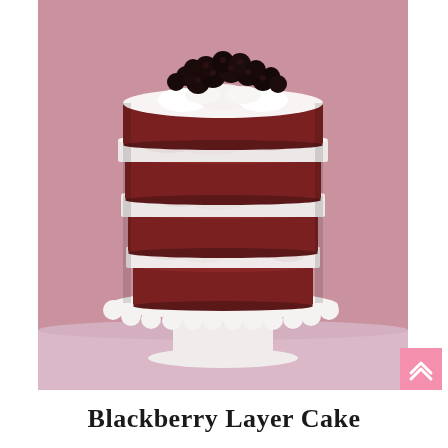[Figure (photo): A tall naked layer cake with red/dark red cake layers alternating with white cream filling, topped with a pile of fresh blackberries, displayed on a white scalloped pedestal cake stand against a pink background.]
Blackberry Layer Cake